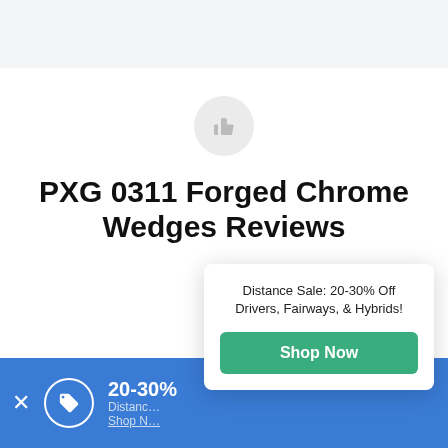[Figure (illustration): Thumbs up icon inside a light gray circle]
PXG 0311 Forged Chrome Wedges Reviews
Distance Sale: 20-30% Off Drivers, Fairways, & Hybrids!
Shop Now
20-30%
Distance Sale: 20-30% Off Drivers, Fairways, & Hybrids!
Shop Now